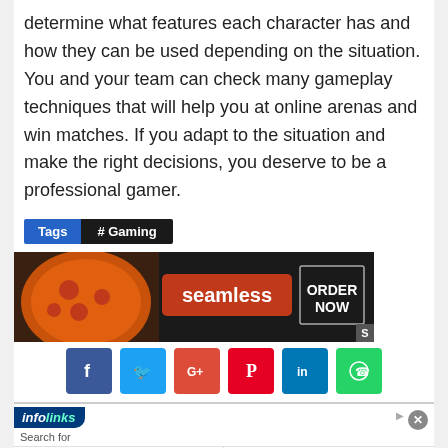determine what features each character has and how they can be used depending on the situation. You and your team can check many gameplay techniques that will help you at online arenas and win matches. If you adapt to the situation and make the right decisions, you deserve to be a professional gamer.
Tags  # Gaming
[Figure (photo): Seamless pizza delivery advertisement banner with ORDER NOW button]
[Figure (infographic): Social media share icons: Facebook, Twitter, Google+, Pinterest, LinkedIn, WhatsApp]
[Figure (infographic): Infolinks ad unit with search results: 1. AFFORDABLE GLASSES ONLINE, 2. ID FRAUD PROTECTION TOP SOFTWARE, 3. TOP EHR MENTAL HEALTH SOFTWARE, 4. MOST NUTRITIOUS DOGGY FOODS. Yahoo Search | Sponsored]